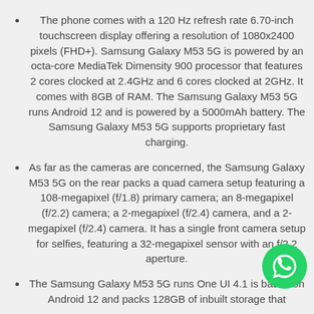The phone comes with a 120 Hz refresh rate 6.70-inch touchscreen display offering a resolution of 1080x2400 pixels (FHD+). Samsung Galaxy M53 5G is powered by an octa-core MediaTek Dimensity 900 processor that features 2 cores clocked at 2.4GHz and 6 cores clocked at 2GHz. It comes with 8GB of RAM. The Samsung Galaxy M53 5G runs Android 12 and is powered by a 5000mAh battery. The Samsung Galaxy M53 5G supports proprietary fast charging.
As far as the cameras are concerned, the Samsung Galaxy M53 5G on the rear packs a quad camera setup featuring a 108-megapixel (f/1.8) primary camera; an 8-megapixel (f/2.2) camera; a 2-megapixel (f/2.4) camera, and a 2-megapixel (f/2.4) camera. It has a single front camera setup for selfies, featuring a 32-megapixel sensor with an f/2.2 aperture.
The Samsung Galaxy M53 5G runs One UI 4.1 is based on Android 12 and packs 128GB of inbuilt storage that